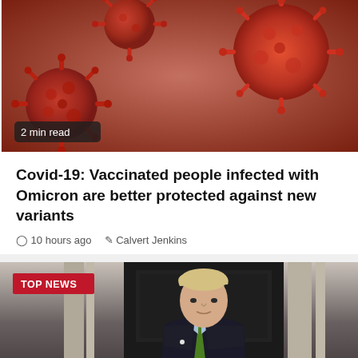[Figure (photo): Close-up photo of red coronavirus particles on a pinkish-orange background]
2 min read
Covid-19: Vaccinated people infected with Omicron are better protected against new variants
10 hours ago   Calvert Jenkins
[Figure (photo): Photo of Boris Johnson in a dark suit with green tie walking outside 10 Downing Street, with TOP NEWS badge overlay]
2 min read